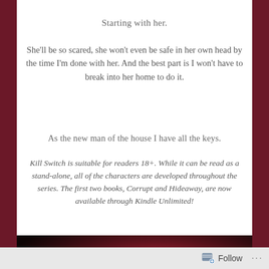Starting with her.
She'll be so scared, she won't even be safe in her own head by the time I'm done with her. And the best part is I won't have to break into her home to do it.
As the new man of the house I have all the keys.
Kill Switch is suitable for readers 18+. While it can be read as a stand-alone, all of the characters are developed throughout the series. The first two books, Corrupt and Hideaway, are now available through Kindle Unlimited!
[Figure (photo): Dark banner image with dramatic red/dark lighting showing text NOW LIVE!! in large white bold letters]
Follow ...